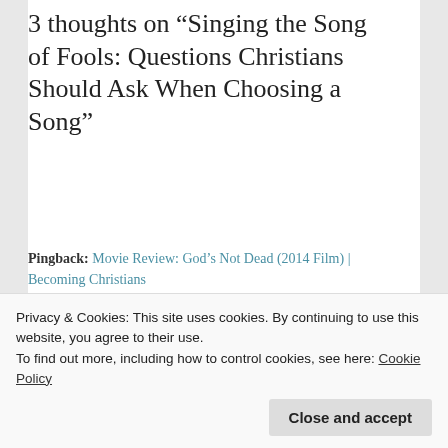3 thoughts on “Singing the Song of Fools: Questions Christians Should Ask When Choosing a Song”
Pingback: Movie Review: God’s Not Dead (2014 Film) | Becoming Christians
Wowzers
October 2, 2021 at 2:40 am
Privacy & Cookies: This site uses cookies. By continuing to use this website, you agree to their use.
To find out more, including how to control cookies, see here: Cookie Policy